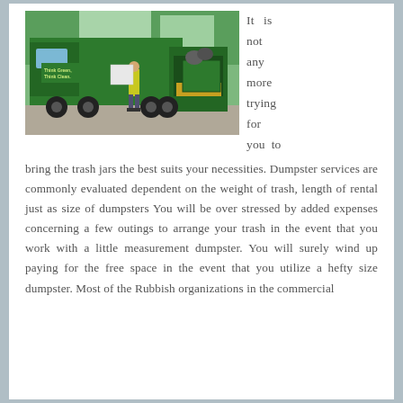[Figure (photo): A green garbage truck with 'Think Green, Think Clean.' text on its side, with a worker in a yellow vest standing beside it, outdoors with trees in the background.]
It is not any more trying for you to bring the trash jars the best suits your necessities. Dumpster services are commonly evaluated dependent on the weight of trash, length of rental just as size of dumpsters You will be over stressed by added expenses concerning a few outings to arrange your trash in the event that you work with a little measurement dumpster. You will surely wind up paying for the free space in the event that you utilize a hefty size dumpster. Most of the Rubbish organizations in the commercial